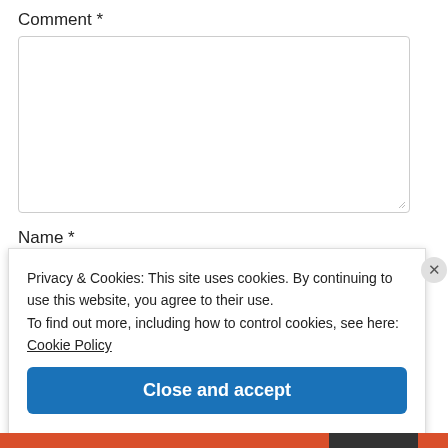Comment *
[Figure (screenshot): Empty comment textarea input field with resize handle]
Name *
[Figure (screenshot): Name input field partially visible behind cookie consent popup]
Privacy & Cookies: This site uses cookies. By continuing to use this website, you agree to their use.
To find out more, including how to control cookies, see here: Cookie Policy
Close and accept